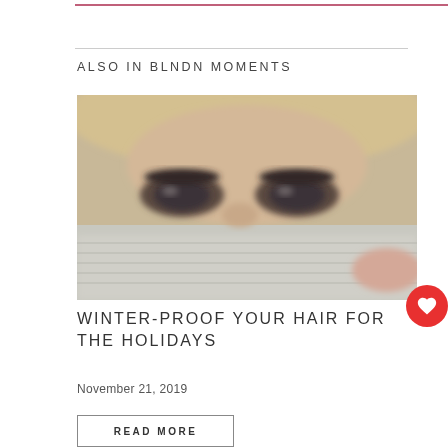ALSO IN BLNDN MOMENTS
[Figure (photo): Close-up photo of a woman with blonde hair and dark eye makeup, covering the lower half of her face with a knitted white/grey sweater or turtleneck, leaving only her eyes and forehead visible.]
WINTER-PROOF YOUR HAIR FOR THE HOLIDAYS
November 21, 2019
READ MORE